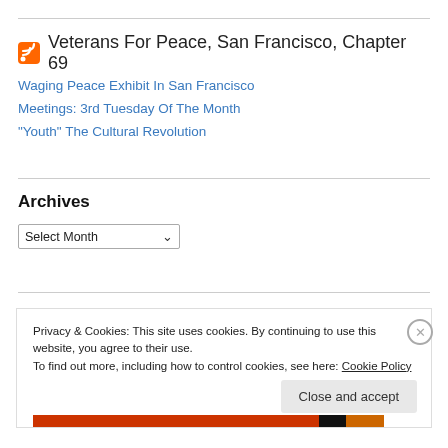Veterans For Peace, San Francisco, Chapter 69
Waging Peace Exhibit In San Francisco
Meetings: 3rd Tuesday Of The Month
“Youth” The Cultural Revolution
Archives
Select Month
Privacy & Cookies: This site uses cookies. By continuing to use this website, you agree to their use. To find out more, including how to control cookies, see here: Cookie Policy
Close and accept